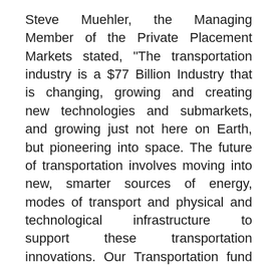Steve Muehler, the Managing Member of the Private Placement Markets stated, “The transportation industry is a $77 Billion Industry that is changing, growing and creating new technologies and submarkets, and growing just not here on Earth, but pioneering into space. The future of transportation involves moving into new, smarter sources of energy, modes of transport and physical and technological infrastructure to support these transportation innovations. Our Transportation fund with its seven investment strategies, will focus on a mix of more established companies with large market caps down to smaller growth